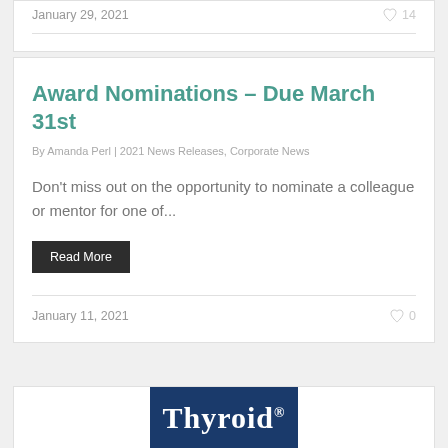January 29, 2021
14
Award Nominations – Due March 31st
By Amanda Perl | 2021 News Releases, Corporate News
Don't miss out on the opportunity to nominate a colleague or mentor for one of...
Read More
January 11, 2021
0
[Figure (other): Thyroid journal cover with blue background and white text reading 'Thyroid']